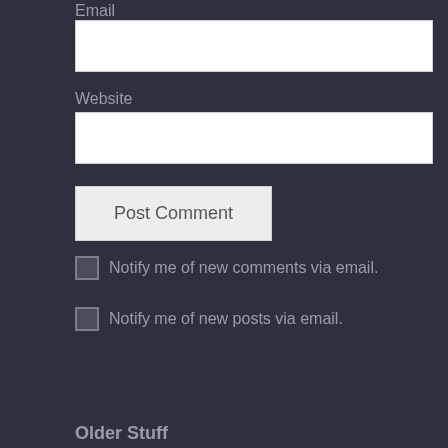Email
Website
Post Comment
Notify me of new comments via email.
Notify me of new posts via email.
Older Stuff